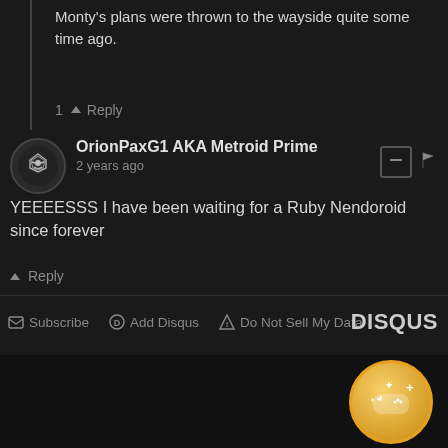Monty's plans were thrown to the wayside quite some time ago.
1 ∧ Reply
OrionPaxG1 AKA Metroid Prime
2 years ago
YEEEESSS I have been waiting for a Ruby Nendoroid since forever
∧ Reply
✉ Subscribe  Ⓓ Add Disqus  ⚠ Do Not Sell My Data  DISQUS
[Figure (other): Dark bottom area with a circular gold achievement/reward badge icon in the lower right corner showing a game controller with sparkles and a plus symbol]